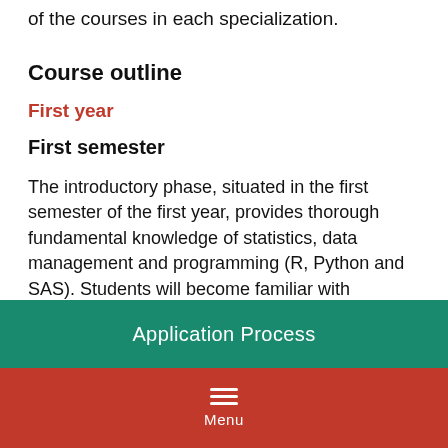of the courses in each specialization.
Course outline
First year
First semester
The introductory phase, situated in the first semester of the first year, provides thorough fundamental knowledge of statistics, data management and programming (R, Python and SAS). Students will become familiar with
Application Process
Menu